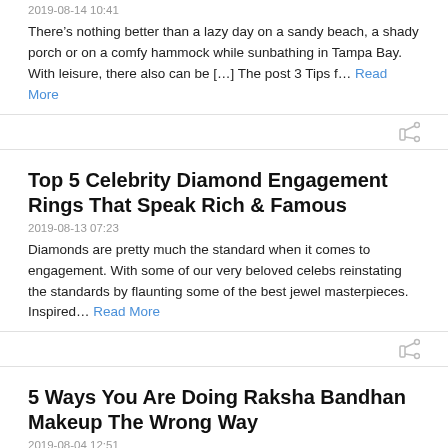2019-08-14 10:41
There’s nothing better than a lazy day on a sandy beach, a shady porch or on a comfy hammock while sunbathing in Tampa Bay. With leisure, there also can be […] The post 3 Tips f… Read More
Top 5 Celebrity Diamond Engagement Rings That Speak Rich & Famous
2019-08-13 07:23
Diamonds are pretty much the standard when it comes to engagement. With some of our very beloved celebs reinstating the standards by flaunting some of the best jewel masterpieces. Inspired… Read More
5 Ways You Are Doing Raksha Bandhan Makeup The Wrong Way
2019-08-04 12:51
Raksha Bandhan is just around the corner. And so is the fun, celebration, and family time. Whether you are connecting with your family over a group video call or getting […] The post… Read More